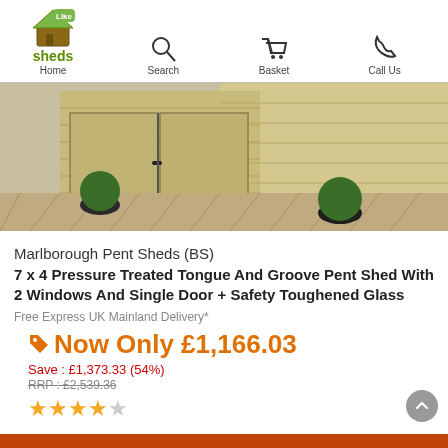Home | Search | Basket | Call Us
[Figure (photo): Photo of a wooden pent shed with two small round topiary bushes in dark pots, wood plank decking floor, double doors with black handles]
Marlborough Pent Sheds (BS)
7 x 4 Pressure Treated Tongue And Groove Pent Shed With 2 Windows And Single Door + Safety Toughened Glass
Free Express UK Mainland Delivery*
Now Only £1,166.03
Save : £1,373.33 (54%)
RRP : £2,539.36